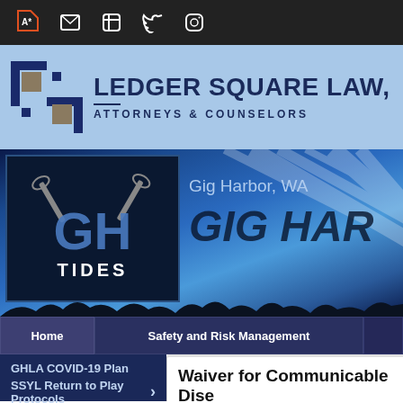[Figure (screenshot): Top navigation bar with dark background showing social/app icons: a star/flag icon, email icon, Facebook icon, Twitter bird icon, and Instagram camera icon]
[Figure (logo): Ledger Square Law logo banner: blue square/bracket logo mark on light blue background with text LEDGER SQUARE LAW, ATTORNEYS & COUNSELORS]
[Figure (photo): Hero banner with blue ray background showing Gig Harbor Tides lacrosse team logo (dark navy box with GH interlocked letters and lacrosse sticks labeled TIDES), text 'Gig Harbor, WA' and large italic GIG HAR text]
[Figure (screenshot): Navigation menu bar with three buttons: Home, Safety and Risk Management, and a third partially visible button]
GHLA COVID-19 Plan
SSYL Return to Play Protocols
Waiver for Communicable Dise